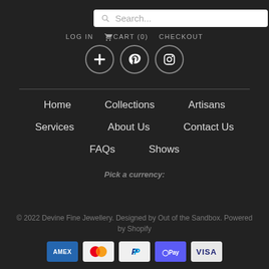[Figure (screenshot): Search bar with magnifying glass icon and placeholder text 'Search...']
LOG IN   CART (0)   CHECKOUT
[Figure (infographic): Social media icons: Facebook (cross/t), Pinterest (p), Instagram (camera) in circular outlines]
Home
Collections
Artisans
Services
About Us
Contact Us
FAQs
Shows
Pick a currency:
[Figure (screenshot): Currency dropdown selector showing CAD with chevron arrow]
© 2022 Devine Fine Jewellery. Designed by Out of the Sandbox. Powered by Shopify
[Figure (infographic): Payment method icons: AMEX, Mastercard, PayPal, Shop Pay (G Pay style), VISA]